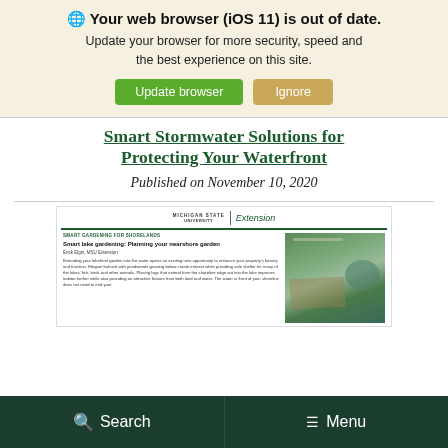🌐 Your web browser (iOS 11) is out of date. Update your browser for more security, speed and the best experience on this site.
Update browser | Ignore
Smart Stormwater Solutions for Protecting Your Waterfront
Published on November 10, 2020
[Figure (screenshot): Michigan State University Extension document preview thumbnail showing 'Smart lake gardening: Planning your nearshore garden' article with text and a lakefront photo]
🔍 Search   ≡ Menu